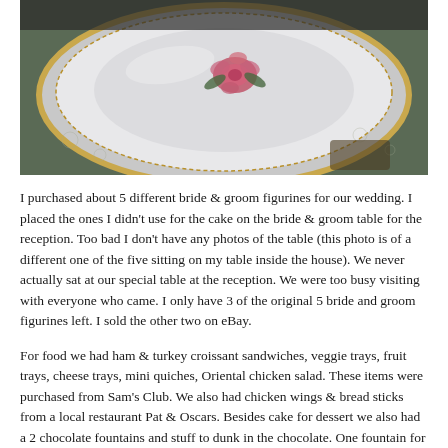[Figure (photo): Photo of a porcelain plate or dish with floral design (pink rose) on a lace tablecloth, viewed from above at an angle. The plate appears to be decorative with a gold rim.]
I purchased about 5 different bride & groom figurines for our wedding. I placed the ones I didn't use for the cake on the bride & groom table for the reception. Too bad I don't have any photos of the table (this photo is of a different one of the five sitting on my table inside the house). We never actually sat at our special table at the reception. We were too busy visiting with everyone who came. I only have 3 of the original 5 bride and groom figurines left. I sold the other two on eBay.
For food we had ham & turkey croissant sandwiches, veggie trays, fruit trays, cheese trays, mini quiches, Oriental chicken salad. These items were purchased from Sam's Club. We also had chicken wings & bread sticks from a local restaurant Pat & Oscars. Besides cake for dessert we also had a 2 chocolate fountains and stuff to dunk in the chocolate. One fountain for milk chocolate and one for white